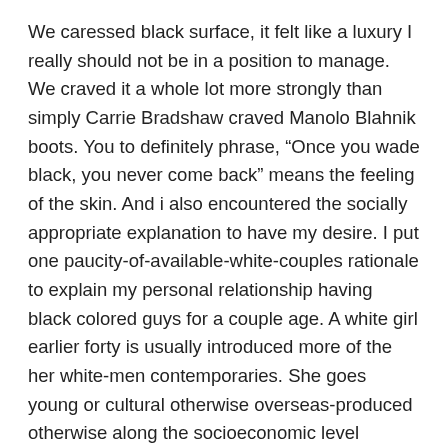We caressed black surface, it felt like a luxury I really should not be in a position to manage. We craved it a whole lot more strongly than simply Carrie Bradshaw craved Manolo Blahnik boots. You to definitely phrase, “Once you wade black, you never come back” means the feeling of the skin. And i also encountered the socially appropriate explanation to have my desire. I put one paucity-of-available-white-couples rationale to explain my personal relationship having black colored guys for a couple age. A white girl earlier forty is usually introduced more of the her white-men contemporaries. She goes young or cultural otherwise overseas-produced otherwise along the socioeconomic level otherwise black otherwise she spends alone evening acquainted with the lady kittens. Black the male is willing to obtain the babe they would not keeps when she was twentysomething and you may fertile. The fresh rules of your own marketplace would prevail. It is far from myself, it’s her or him as being the white boys which weren’t once me any longer, or more We advertised. Which is a lie. To be honest, I desire comparable portion of readily available white men my personal age (and far young!) now once i performed once i was thirty and that is not such as the not available white men who want to play around anyway